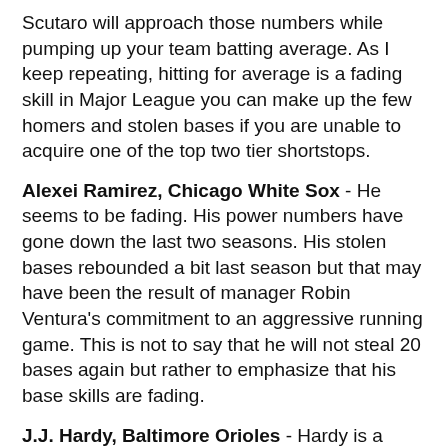Scutaro will approach those numbers while pumping up your team batting average. As I keep repeating, hitting for average is a fading skill in Major League you can make up the few homers and stolen bases if you are unable to acquire one of the top two tier shortstops.
Alexei Ramirez, Chicago White Sox - He seems to be fading. His power numbers have gone down the last two seasons. His stolen bases rebounded a bit last season but that may have been the result of manager Robin Ventura's commitment to an aggressive running game. This is not to say that he will not steal 20 bases again but rather to emphasize that his base skills are fading.
J.J. Hardy, Baltimore Orioles - Hardy is a solid defensive shortstop. He has a solid contact rate and excellent power but is an impatient and undisciplined hitter. He is unlikely to hit for a great average but 20 homers are usually in the cards with a middling batting average.
Zach Cozart, Cincinnati Reds - He enjoyed a solid full season debut batting .246/.288/.399 with 15 homeruns and